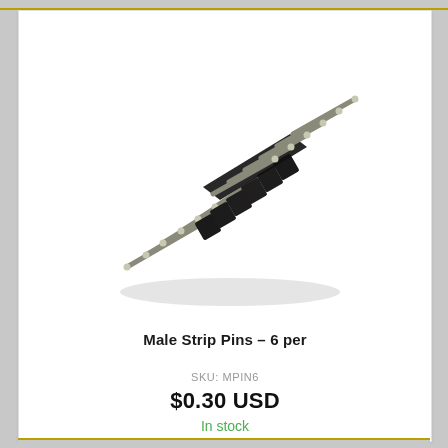[Figure (photo): Male strip pin header connector with 6 pins arranged in a row, black plastic housing, silver metal pins extending from both sides, photographed at an angle on white background.]
Male Strip Pins – 6 per
SKU: MPIN6
$0.30 USD
In stock